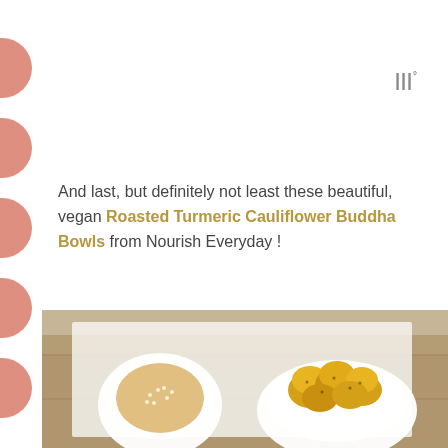[Figure (illustration): Decorative salmon/terracotta circles along the left edge of the page]
|||°
And last, but definitely not least these beautiful, vegan Roasted Turmeric Cauliflower Buddha Bowls from Nourish Everyday !
[Figure (photo): Food photography showing roasted turmeric cauliflower in a white bowl on a wooden tray with a small white dish containing dipping sauce with sesame seeds, placed on white parchment paper]